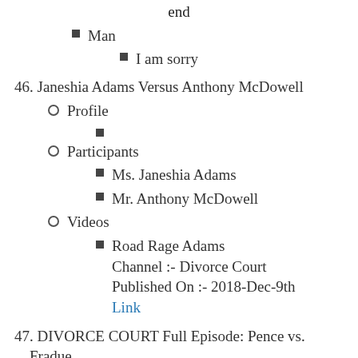end
Man
I am sorry
46. Janeshia Adams Versus Anthony McDowell
Profile
Participants
Ms. Janeshia Adams
Mr. Anthony McDowell
Videos
Road Rage Adams Channel :- Divorce Court Published On :- 2018-Dec-9th Link
47. DIVORCE COURT Full Episode: Pence vs. Fradue